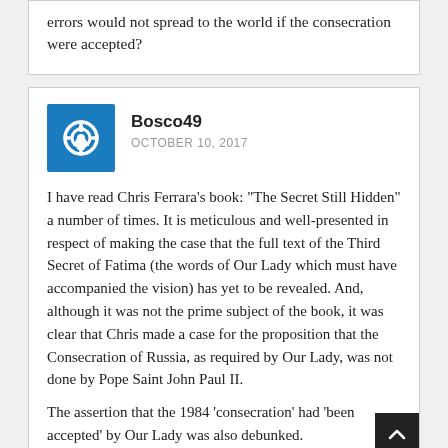errors would not spread to the world if the consecration were accepted?
Bosco49
OCTOBER 10, 2017
I have read Chris Ferrara’s book: “The Secret Still Hidden” a number of times. It is meticulous and well-presented in respect of making the case that the full text of the Third Secret of Fatima (the words of Our Lady which must have accompanied the vision) has yet to be revealed. And, although it was not the prime subject of the book, it was clear that Chris made a case for the proposition that the Consecration of Russia, as required by Our Lady, was not done by Pope Saint John Paul II.
The assertion that the 1984 ‘consecration’ had ‘been accepted’ by Our Lady was also debunked.